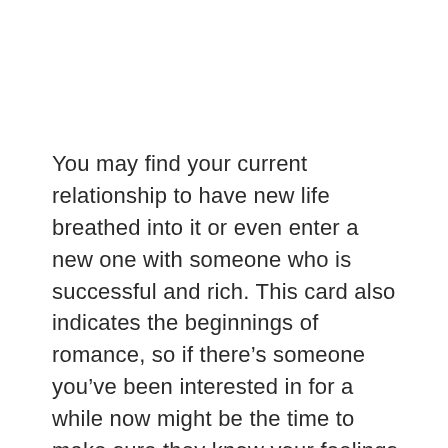You may find your current relationship to have new life breathed into it or even enter a new one with someone who is successful and rich. This card also indicates the beginnings of romance, so if there's someone you've been interested in for a while now might be the time to make sure they know your feelings.